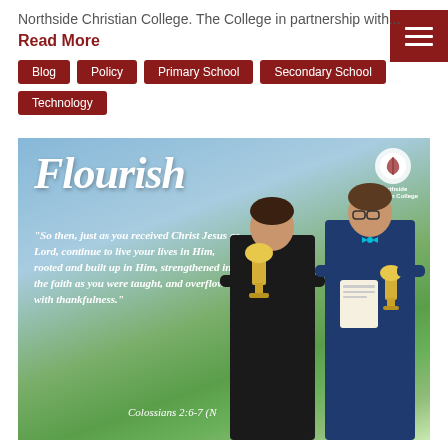Northside Christian College. The College in partnership with...
Read More
Blog
Policy
Primary School
Secondary School
Technology
[Figure (photo): Two students holding trophies in front of a Flourish-themed banner for Northside Christian College. The banner includes a Bible verse: 'So then, just as you received Christ Jesus as Lord, continue to live your lives in Him, rooted and built up in Him, strengthened in the faith as you were taught, and overflowing with thankfulness.' Colossians 2:6-7 (N)]